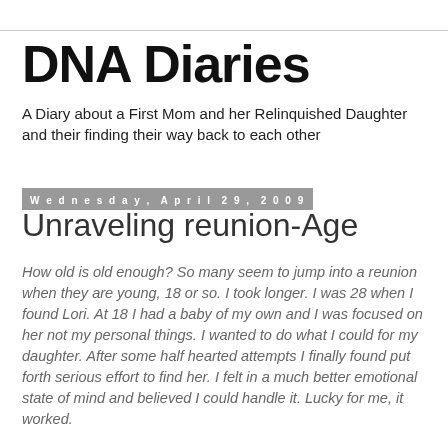DNA Diaries
A Diary about a First Mom and her Relinquished Daughter and their finding their way back to each other
Wednesday, April 29, 2009
Unraveling reunion-Age
How old is old enough? So many seem to jump into a reunion when they are young, 18 or so. I took longer. I was 28 when I found Lori. At 18 I had a baby of my own and I was focused on her not my personal things. I wanted to do what I could for my daughter. After some half hearted attempts I finally found put forth serious effort to find her. I felt in a much better emotional state of mind and believed I could handle it. Lucky for me, it worked.
So my question is...is there such a thing as too young for reunion? I fully back giving adoptees their info at adulthood.